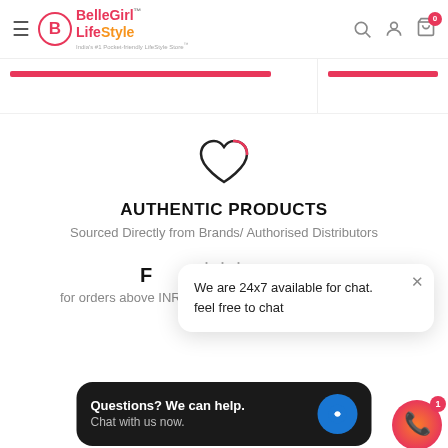[Figure (screenshot): BelleGirl LifeStyle website header with logo, hamburger menu, search, account and cart icons]
[Figure (other): Pink banner bars below header]
[Figure (illustration): Heart outline icon]
AUTHENTIC PRODUCTS
Sourced Directly from Brands/ Authorised Distributors
F
for orders above INR499
We are 24x7 available for chat.
feel free to chat
Questions? We can help.
Chat with us now.